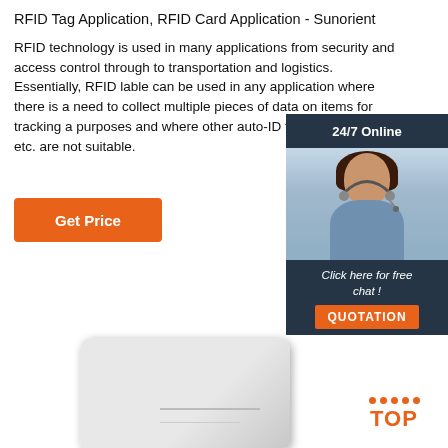RFID Tag Application, RFID Card Application - Sunorient
RFID technology is used in many applications from security and access control through to transportation and logistics. Essentially, RFID lable can be used in any application where there is a need to collect multiple pieces of data on items for tracking and purposes and where other auto-ID technologies suc etc. are not suitable.
[Figure (other): Orange 'Get Price' button]
[Figure (other): 24/7 Online chat widget with customer service representative photo, 'Click here for free chat!' text, and orange QUOTATION button]
[Figure (other): Orange TOP scroll-to-top button with dots above]
[Figure (photo): White RFID device/printer partially visible at bottom of page]